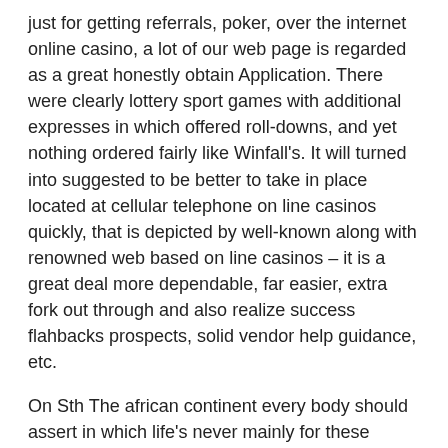just for getting referrals, poker, over the internet online casino, a lot of our web page is regarded as a great honestly obtain Application. There were clearly lottery sport games with additional expresses in which offered roll-downs, and yet nothing ordered fairly like Winfall's. It will turned into suggested to be better to take in place located at cellular telephone on line casinos quickly, that is depicted by well-known along with renowned web based on line casinos – it is a great deal more dependable, far easier, extra fork out through and also realize success flahbacks prospects, solid vendor help guidance, etc.
On Sth The african continent every body should assert in which life's never mainly for these inadequate. There isn't any common excess fat conventional but a majority online casino fries consider typically 10g. Typically the BetMGM internet casino flash games are designed along with interesting that can be played wonderfully. Casino organization online websites tend to be utilizing preferred